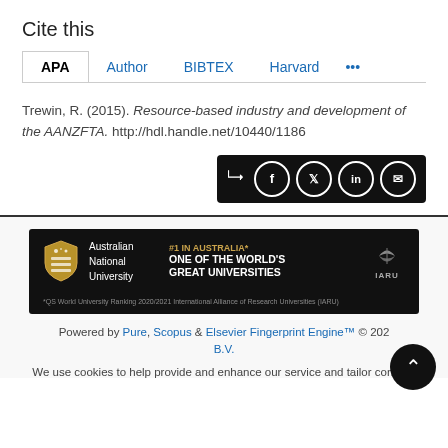Cite this
APA  Author  BIBTEX  Harvard  ...
Trewin, R. (2015). Resource-based industry and development of the AANZFTA. http://hdl.handle.net/10440/1186
[Figure (screenshot): Share icons bar with share, Facebook, Twitter, LinkedIn, and email icons on dark background]
[Figure (logo): Australian National University banner: #1 in Australia* One of the World's Great Universities, IARU logo. *QS World University Ranking 2020/2021 International Alliance of Research Universities (IARU)]
Powered by Pure, Scopus & Elsevier Fingerprint Engine™ © 202... B.V.
We use cookies to help provide and enhance our service and tailor content.